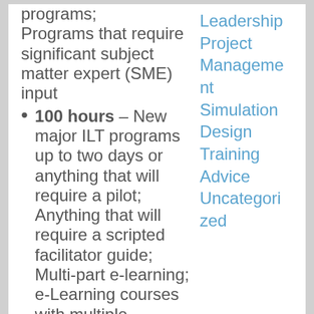programs; Programs that require significant subject matter expert (SME) input
100 hours – New major ILT programs up to two days or anything that will require a pilot; Anything that will require a scripted facilitator guide; Multi-part e-learning; e-Learning courses with multiple branching
Leadership
Project Management
Simulation Design
Training Advice
Uncategorized